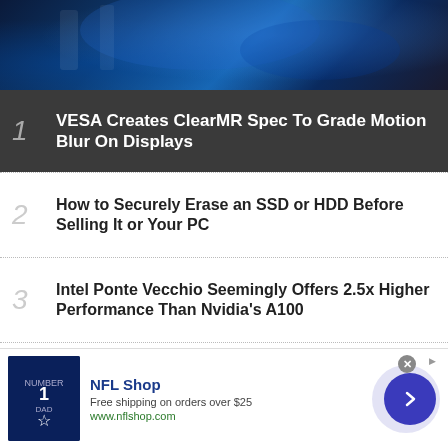[Figure (photo): Gaming setup with blue-lit monitors and peripherals]
1 VESA Creates ClearMR Spec To Grade Motion Blur On Displays
2 How to Securely Erase an SSD or HDD Before Selling It or Your PC
3 Intel Ponte Vecchio Seemingly Offers 2.5x Higher Performance Than Nvidia's A100
4 Leaked TSMC Slide Shows N3E Yields Progressing Ahead of Plan
[Figure (photo): NFL Shop advertisement with Dallas Cowboys shirt, Free shipping on orders over $25, www.nflshop.com]